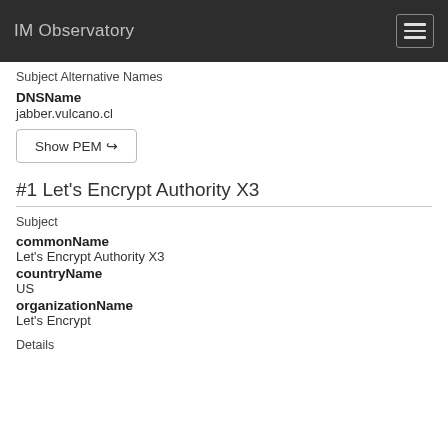IM Observatory
Subject Alternative Names
DNSName
jabber.vulcano.cl
Show PEM
#1 Let's Encrypt Authority X3
Subject
commonName
Let's Encrypt Authority X3
countryName
US
organizationName
Let's Encrypt
Details